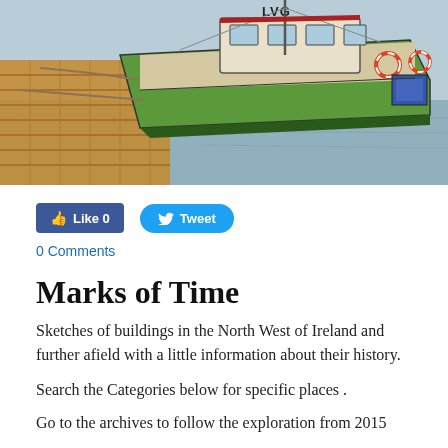[Figure (illustration): Watercolor/ink sketch of a green fishing boat moored at a wooden dock, with red and blue accents, ropes, and equipment visible on the deck, set against a grey-green water background.]
Like 0   Tweet
0 Comments
Marks of Time
Sketches of buildings in the North West of Ireland and further afield with a little information about their history.
Search the Categories below for specific places .
Go to the archives to follow the exploration from 2015
Go to the  drop down to follow some of the routes explored.